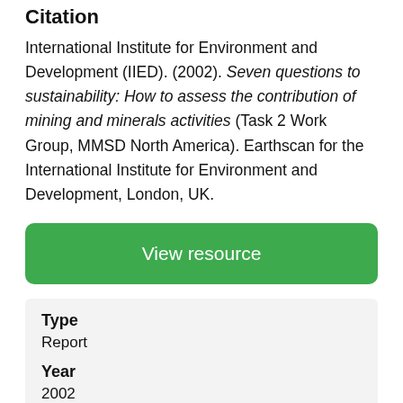Citation
International Institute for Environment and Development (IIED). (2002). Seven questions to sustainability: How to assess the contribution of mining and minerals activities (Task 2 Work Group, MMSD North America). Earthscan for the International Institute for Environment and Development, London, UK.
View resource
Type
Report
Year
2002